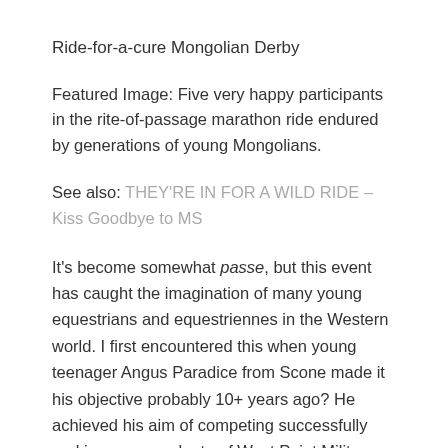Ride-for-a-cure Mongolian Derby
Featured Image: Five very happy participants in the rite-of-passage marathon ride endured by generations of young Mongolians.
See also: THEY'RE IN FOR A WILD RIDE – Kiss Goodbye to MS
It's become somewhat passe, but this event has caught the imagination of many young equestrians and equestriennes in the Western world. I first encountered this when young teenager Angus Paradice from Scone made it his objective probably 10+ years ago? He achieved his aim of competing successfully and is now a graduate of West Point Military Academy (USA) having joined the US Military